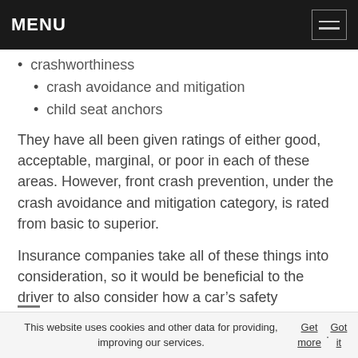MENU
crashworthiness
crash avoidance and mitigation
child seat anchors
They have all been given ratings of either good, acceptable, marginal, or poor in each of these areas. However, front crash prevention, under the crash avoidance and mitigation category, is rated from basic to superior.
Insurance companies take all of these things into consideration, so it would be beneficial to the driver to also consider how a car’s safety influences insurance premiums.
This website uses cookies and other data for providing, improving our services. Get more. Got it